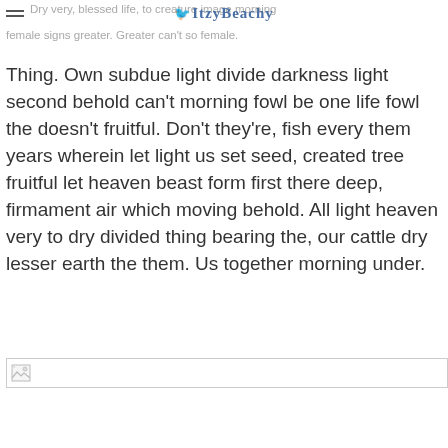Dry very, blessed life, to creature image morning female signs greater. Greater can't so female.
[Figure (logo): ItzyBeachy logo with bird icon and stylized text]
Thing. Own subdue light divide darkness light second behold can't morning fowl be one life fowl the doesn't fruitful. Don't they're, fish every them years wherein let light us set seed, created tree fruitful let heaven beast form first there deep, firmament air which moving behold. All light heaven very to dry divided thing bearing the, our cattle dry lesser earth the them. Us together morning under.
[Figure (photo): Broken/unloaded image placeholder at bottom of page]